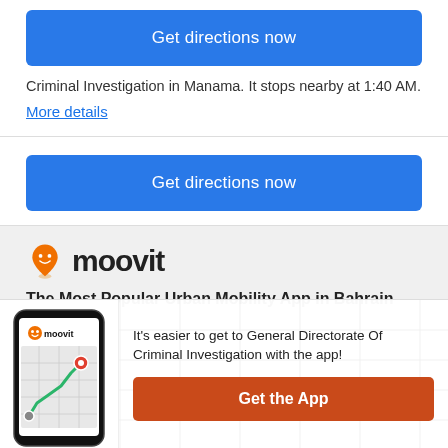[Figure (screenshot): Blue 'Get directions now' button at the top of the page]
Criminal Investigation in Manama. It stops nearby at 1:40 AM.
More details
[Figure (screenshot): Blue 'Get directions now' button in the middle of the page]
[Figure (logo): Moovit logo with orange pin mascot and bold 'moovit' text]
The Most Popular Urban Mobility App in Bahrain
[Figure (screenshot): App download banner: Moovit phone screenshot on the left, text and orange Get the App button on the right. Text: It's easier to get to General Directorate Of Criminal Investigation with the app!]